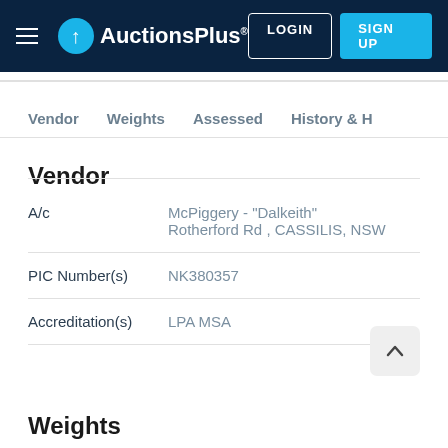AuctionsPlus® — LOGIN | SIGN UP
Vendor | Weights | Assessed | History & H
Vendor
| Field | Value |
| --- | --- |
| A/c | McPiggery - "Dalkeith" Rotherford Rd , CASSILIS, NSW |
| PIC Number(s) | NK380357 |
| Accreditation(s) | LPA MSA |
Weights